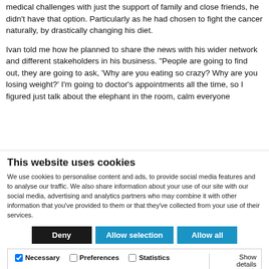As much as he might have liked to focus on his medical challenges with just the support of family and close friends, he didn't have that option. Particularly as he had chosen to fight the cancer naturally, by drastically changing his diet.
Ivan told me how he planned to share the news with his wider network and different stakeholders in his business. “People are going to find out, they are going to ask, ‘Why are you eating so crazy? Why are you losing weight?’ I’m going to doctor’s appointments all the time, so I figured just talk about the elephant in the room, calm everyone
This website uses cookies
We use cookies to personalise content and ads, to provide social media features and to analyse our traffic. We also share information about your use of our site with our social media, advertising and analytics partners who may combine it with other information that you’ve provided to them or that they’ve collected from your use of their services.
Deny | Allow selection | Allow all
Necessary | Preferences | Statistics | Marketing | Show details